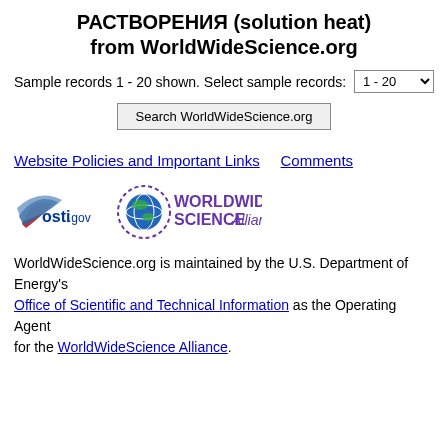РАСТВОРЕНИЯ (solution heat) from WorldWideScience.org
Sample records 1 - 20 shown. Select sample records: 1 - 20
Search WorldWideScience.org
Website Policies and Important Links    Comments
[Figure (logo): osti.gov logo and WorldWide Science Alliance logo]
WorldWideScience.org is maintained by the U.S. Department of Energy's Office of Scientific and Technical Information as the Operating Agent for the WorldWideScience Alliance.